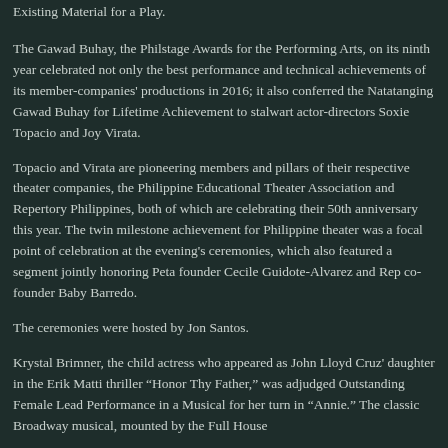Existing Material for a Play.
The Gawad Buhay, the Philstage Awards for the Performing Arts, on its ninth year celebrated not only the best performance and technical achievements of its member-companies' productions in 2016; it also conferred the Natatanging Gawad Buhay for Lifetime Achievement to stalwart actor-directors Soxie Topacio and Joy Virata.
Topacio and Virata are pioneering members and pillars of their respective theater companies, the Philippine Educational Theater Association and Repertory Philippines, both of which are celebrating their 50th anniversary this year. The twin milestone achievement for Philippine theater was a focal point of celebration at the evening's ceremonies, which also featured a segment jointly honoring Peta founder Cecile Guidote-Alvarez and Rep co-founder Baby Barredo.
The ceremonies were hosted by Jon Santos.
Krystal Brimner, the child actress who appeared as John Lloyd Cruz' daughter in the Erik Matti thriller “Honor Thy Father,” was adjudged Outstanding Female Lead Performance in a Musical for her turn in “Annie.” The classic Broadway musical, mounted by the Full House